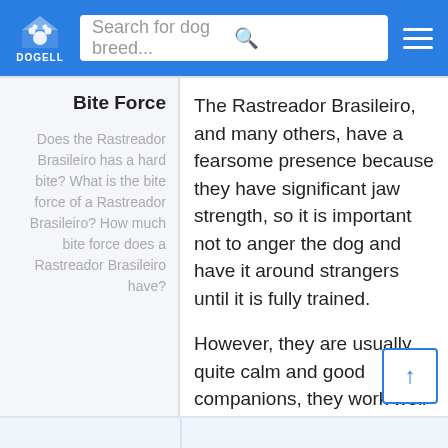DOGELL — Search for dog breed...
Bite Force
Does the Rastreador Brasileiro has a hard bite? What is the bite force of a Rastreador Brasileiro? How much bite force does a Rastreador Brasileiro have?
The Rastreador Brasileiro, and many others, have a fearsome presence because they have significant jaw strength, so it is important not to anger the dog and have it around strangers until it is fully trained.
However, they are usually quite calm and good companions, they work well in families and are easy to care for.